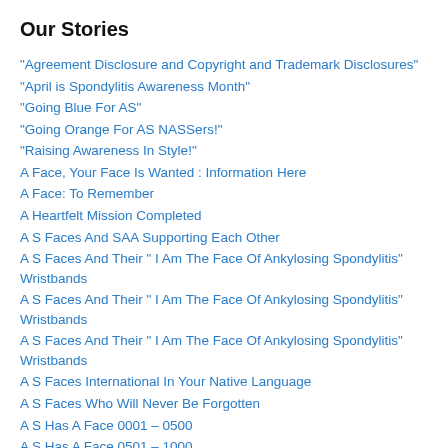Our Stories
“Agreement Disclosure and Copyright and Trademark Disclosures”
“April is Spondylitis Awareness Month”
“Going Blue For AS”
“Going Orange For AS NASSers!”
“Raising Awareness In Style!”
A Face, Your Face Is Wanted : Information Here
A Face: To Remember
A Heartfelt Mission Completed
A S Faces And SAA Supporting Each Other
A S Faces And Their “ I Am The Face Of Ankylosing Spondylitis” Wristbands
A S Faces And Their “ I Am The Face Of Ankylosing Spondylitis” Wristbands
A S Faces And Their “ I Am The Face Of Ankylosing Spondylitis” Wristbands
A S Faces International In Your Native Language
A S Faces Who Will Never Be Forgotten
A S Has A Face 0001 – 0500
A S Has A Face 0501 – 1000